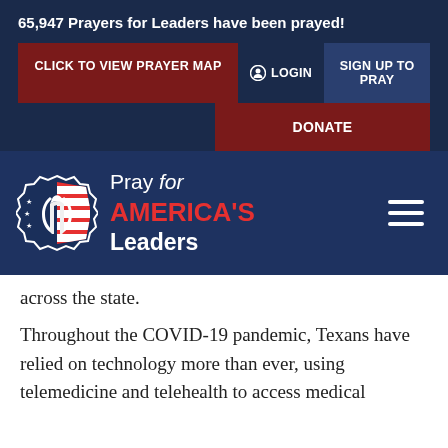65,947 Prayers for Leaders have been prayed!
[Figure (screenshot): Navigation buttons: CLICK TO VIEW PRAYER MAP (dark red), LOGIN (with icon), SIGN UP TO PRAY (dark blue), DONATE (dark red)]
[Figure (logo): Pray for America's Leaders logo with praying hands over American flag design in a shield/seal shape]
across the state.
Throughout the COVID-19 pandemic, Texans have relied on technology more than ever, using telemedicine and telehealth to access medical